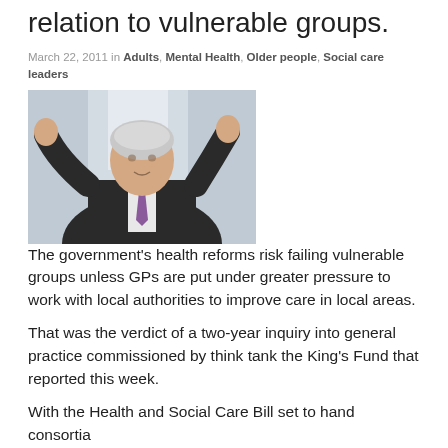relation to vulnerable groups.
March 22, 2011 in Adults, Mental Health, Older people, Social care leaders
[Figure (photo): A man in a dark suit with a purple tie gesturing with both hands raised, speaking, against a light background.]
The government's health reforms risk failing vulnerable groups unless GPs are put under greater pressure to work with local authorities to improve care in local areas.
That was the verdict of a two-year inquiry into general practice commissioned by think tank the King's Fund that reported this week.
With the Health and Social Care Bill set to hand consortia